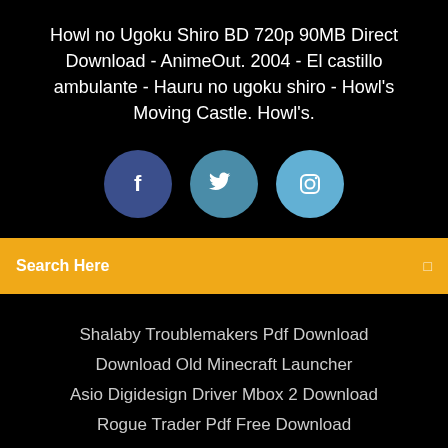Howl no Ugoku Shiro BD 720p 90MB Direct Download - AnimeOut. 2004 - El castillo ambulante - Hauru no ugoku shiro - Howl's Moving Castle. Howl's.
[Figure (illustration): Three social media icon circles: Facebook (dark blue), Twitter (medium blue), Instagram (light blue)]
Search Here
Shalaby Troublemakers Pdf Download
Download Old Minecraft Launcher
Asio Digidesign Driver Mbox 2 Download
Rogue Trader Pdf Free Download
Copyright ©2022 All rights reserved | This template is made with ♡ by Colorlib